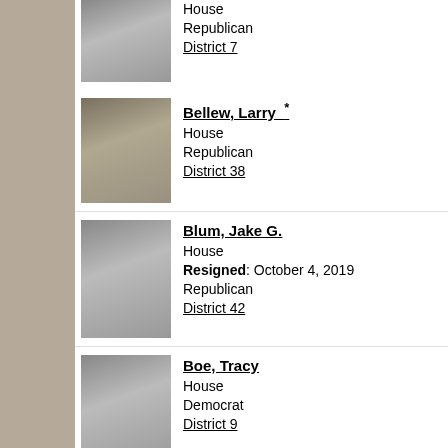House Republican District 7
Bellew, Larry * House Republican District 38
Blum, Jake G. House Resigned: October 4, 2019 Republican District 42
Boe, Tracy House Democrat District 9
Bosch, Glenn House Republican